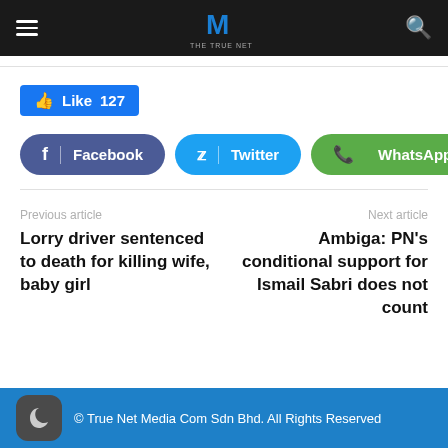THE TRUE NET (logo/navigation bar)
[Figure (screenshot): Like button showing thumbs up icon and count 127]
[Figure (screenshot): Social share buttons: Facebook, Twitter, WhatsApp]
Previous article
Lorry driver sentenced to death for killing wife, baby girl
Next article
Ambiga: PN's conditional support for Ismail Sabri does not count
© True Net Media Com Sdn Bhd. All Rights Reserved